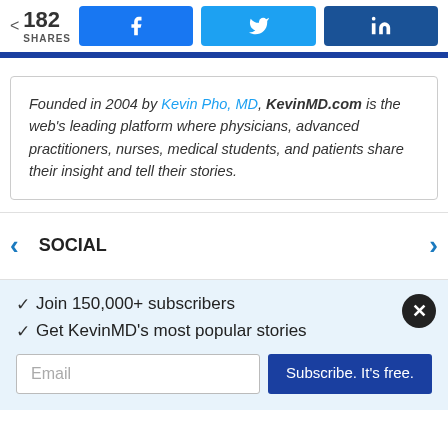182 SHARES | Facebook | Twitter | LinkedIn
Founded in 2004 by Kevin Pho, MD, KevinMD.com is the web's leading platform where physicians, advanced practitioners, nurses, medical students, and patients share their insight and tell their stories.
SOCIAL
✓ Join 150,000+ subscribers
✓ Get KevinMD's most popular stories
Email | Subscribe. It's free.